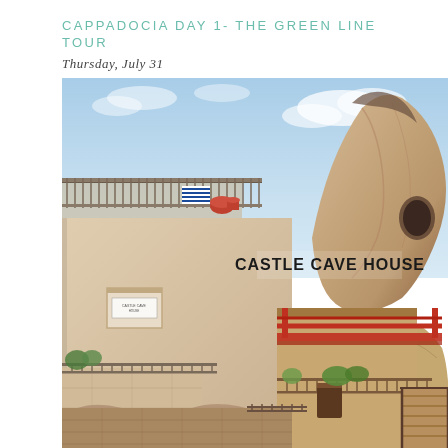CAPPADOCIA DAY 1- THE GREEN LINE TOUR
Thursday, July 31
[Figure (photo): Photograph of Castle Cave House in Cappadocia, Turkey. The image shows a multi-story stone and plaster building complex built into and alongside large volcanic rock formations. A prominent sign reads 'CASTLE CAVE HOUSE'. The architecture blends traditional cave dwellings with built structures, featuring terraces, balconies with iron railings, red roofing elements, and lush plants. A large rocky pinnacle towers in the background against a blue sky with light clouds.]